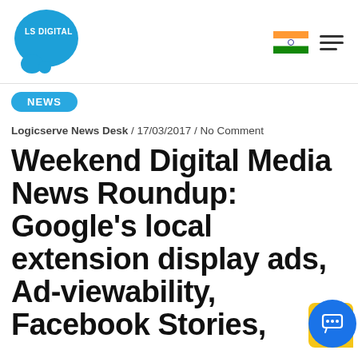[Figure (logo): LS Digital logo — blue speech bubble shape with 'LS DIGITAL' text in white and a small blue circle below]
[Figure (illustration): Indian flag icon and hamburger menu icon in top right corner]
NEWS
Logicserve News Desk / 17/03/2017 / No Comment
Weekend Digital Media News Roundup: Google's local extension display ads, Ad-viewability, Facebook Stories,